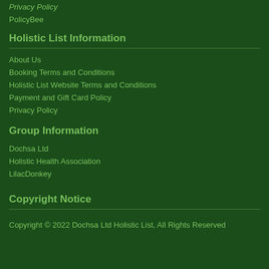Privacy Policy
PolicyBee
Holistic List Information
About Us
Booking Terms and Conditions
Holistic List Website Terms and Conditions
Payment and Gift Card Policy
Privacy Policy
Group Information
Dochsa Ltd
Holistic Health Association
LilacDonkey
Copyright Notice
Copyright © 2022 Dochsa Ltd Holistic List, All Rights Reserved